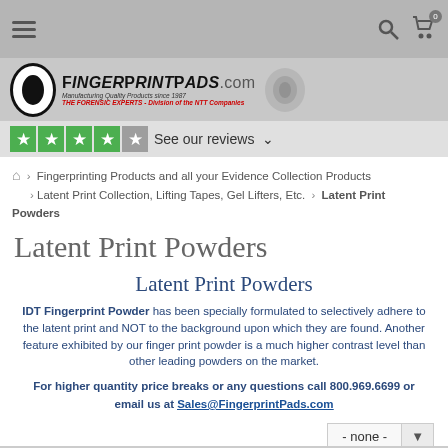FingerPrintPads.com — Manufacturing Quality Products since 1987 — THE FORENSIC EXPERTS - Division of the NTT Companies
See our reviews ∨ (4.5 stars)
⌂ > Fingerprinting Products and all your Evidence Collection Products > Latent Print Collection, Lifting Tapes, Gel Lifters, Etc. > Latent Print Powders
Latent Print Powders
Latent Print Powders
IDT Fingerprint Powder has been specially formulated to selectively adhere to the latent print and NOT to the background upon which they are found. Another feature exhibited by our finger print powder is a much higher contrast level than other leading powders on the market.
For higher quantity price breaks or any questions call 800.969.6699 or email us at Sales@FingerprintPads.com
- none -